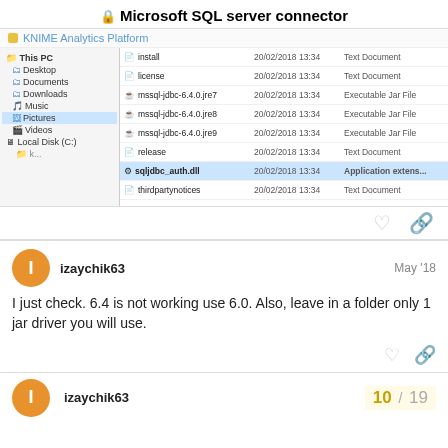🔒 Microsoft SQL server connector
KNIME Analytics Platform
[Figure (screenshot): Windows File Explorer showing JDBC driver files including install, license, mssql-jdbc-6.4.0.jre7, mssql-jdbc-6.4.0.jre8, mssql-jdbc-6.4.0.jre9, release, sqljdbc_auth.dll (highlighted), and thirdpartynotices files dated 20/02/2018 13:34]
izaychik63
May '18
I just check. 6.4 is not working use 6.0. Also, leave in a folder only 1 jar driver you will use.
izaychik63
10 / 19